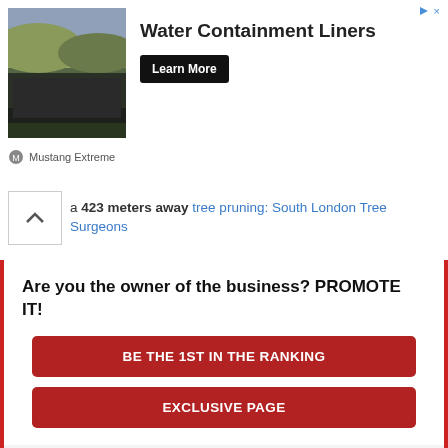[Figure (illustration): Advertisement banner for Water Containment Liners by Mustang Extreme with a landscape photo showing a lined containment area]
a 423 meters away tree pruning: South London Tree Surgeons
Are you the owner of the business? PROMOTE IT!
BE THE 1ST IN THE RANKING
EXCLUSIVE PAGE
High quality security company offering security services at affordable prices from £12.99, in and around London + the UK. Call 0208 294 1444 to discuss now.